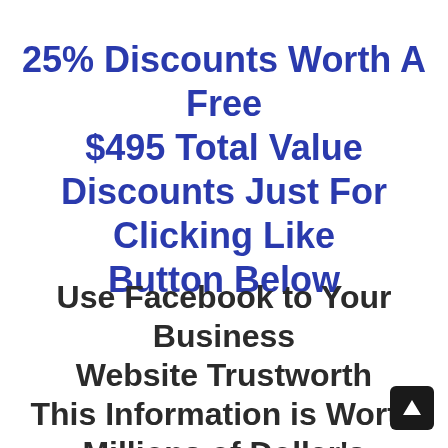25% Discounts Worth A Free $495 Total Value Discounts Just For Clicking Like Button Below
Use Facebook to Your Business Website Trustworth This Information is Worth Millions of Dollar's If you look throw the post's on